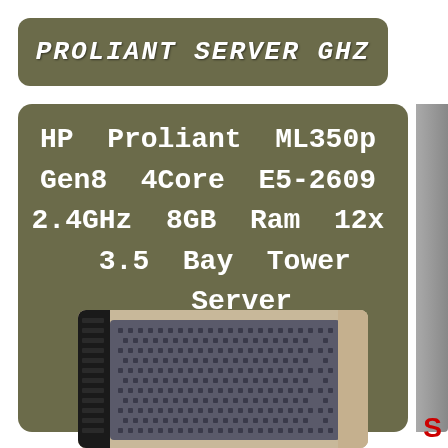Proliant Server Ghz
HP Proliant ML350p Gen8 4Core E5-2609 2.4GHz 8GB Ram 12x 3.5 Bay Tower Server
[Figure (photo): Front view of HP Proliant ML350p Gen8 tower server, showing the dark grey ventilated front panel with honeycomb grill pattern, beige/tan chassis sides, and black drive bays on the left side.]